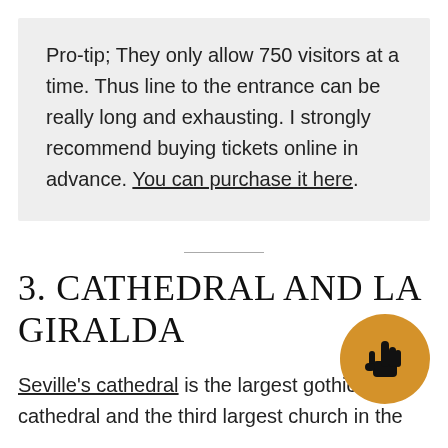Pro-tip; They only allow 750 visitors at a time. Thus line to the entrance can be really long and exhausting. I strongly recommend buying tickets online in advance. You can purchase it here.
3. CATHEDRAL AND LA GIRALDA
Seville's cathedral is the largest gothic cathedral and the third largest church in the